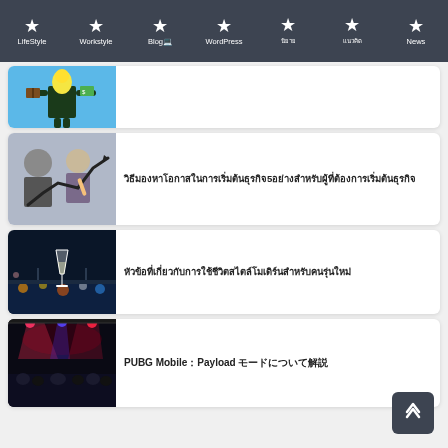LifeStyle | Workstyle | BlogIT | WordPress | (Thai nav items) | News
[Figure (illustration): Partially visible card with cartoon illustration of person with lightbulb head holding books and money]
[Figure (photo): Business people in meeting with rising graph arrow drawn on glass, woman pointing at chart]
วิธีมองหาโอกาสในการเริ่มต้นธุรกิจ5อย่างสำหรับผู้ที่ต้องการเริ่มต้นธุรกิจ
[Figure (photo): Night cityscape with lights and a cocktail glass in foreground]
หัวข้อที่เกี่ยวกับการใช้ชีวิตสไตล์โมเดิร์นสำหรับคนรุ่นใหม่
[Figure (photo): Dark indoor event venue with colorful stage lights and crowd]
PUBG Mobile：Payload モードについて解説